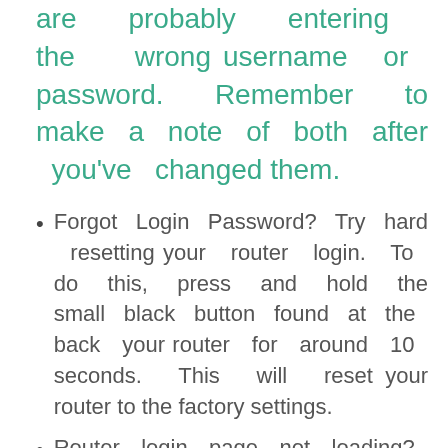are probably entering the wrong username or password. Remember to make a note of both after you've changed them.
Forgot Login Password? Try hard resetting your router login. To do this, press and hold the small black button found at the back your router for around 10 seconds. This will reset your router to the factory settings.
Router login page not loading? If the login page is not loading, make sure the device you are using is connected to the wi-fi. You will also need to check if the wrong router IP address is set as the default one.
Sometimes pages, may have issues loading, or problems with speed. In this case, your network is probably using a different IP address. If this occurs, consult our IP address